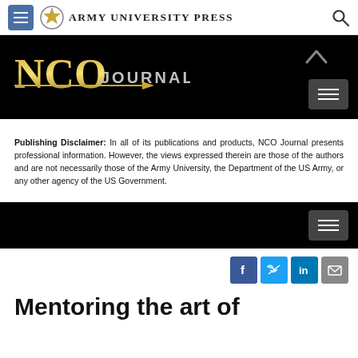Army University Press
[Figure (screenshot): NCO Journal banner logo on black background with gold NCO text and grey JOURNAL text, with arrow graphic]
Publishing Disclaimer: In all of its publications and products, NCO Journal presents professional information. However, the views expressed therein are those of the authors and are not necessarily those of the Army University, the Department of the US Army, or any other agency of the US Government.
[Figure (screenshot): Second black navigation banner with hamburger menu button]
[Figure (infographic): Social media share icons: Facebook, Twitter, LinkedIn, Email]
Mentoring the art of